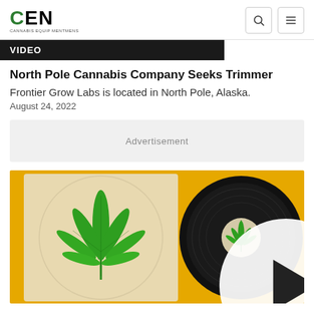CEN - CANNABIS EQUIPMENTMENTS
VIDEO
North Pole Cannabis Company Seeks Trimmer
Frontier Grow Labs is located in North Pole, Alaska.
August 24, 2022
Advertisement
[Figure (photo): Video thumbnail showing a cannabis leaf on a vinyl record sleeve beside a black vinyl record on a yellow background, with a white play button overlay in the center.]